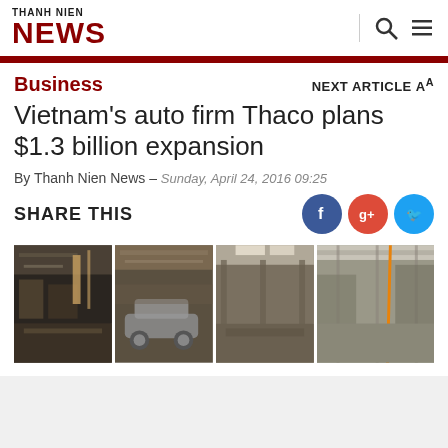THANH NIEN NEWS
Business
NEXT ARTICLE A
Vietnam's auto firm Thaco plans $1.3 billion expansion
By Thanh Nien News – Sunday, April 24, 2016 09:25
SHARE THIS
[Figure (photo): Strip of four factory interior photos showing automobile manufacturing facility]